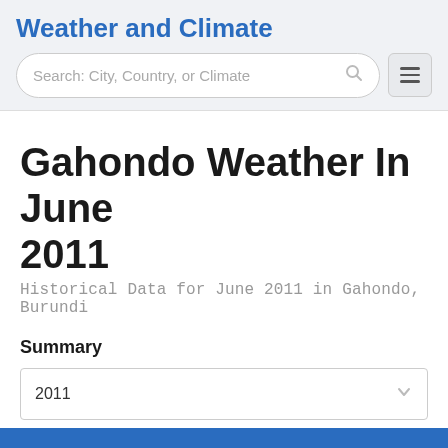Weather and Climate
Gahondo Weather In June 2011
Historical Data for June 2011 in Gahondo, Burundi
Summary
2011
June